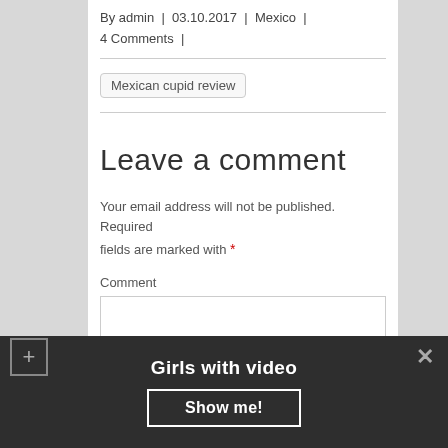By admin  |  03.10.2017  |  Mexico  |  4 Comments  |
Mexican cupid review
Leave a comment
Your email address will not be published. Required fields are marked with *
Comment
Girls with video
Show me!